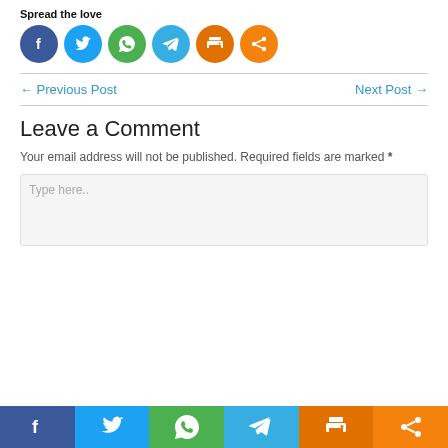Spread the love
[Figure (infographic): Six social share icon buttons: Facebook (dark blue), Twitter (light blue), WhatsApp (green), Telegram (blue), Print (orange), More/Share (orange)]
← Previous Post
Next Post →
Leave a Comment
Your email address will not be published. Required fields are marked *
Type here..
[Figure (infographic): Bottom share bar with six colored sections: Facebook (dark blue), Twitter (light blue), WhatsApp (green), Telegram (blue), Print (orange), Share (dark orange)]